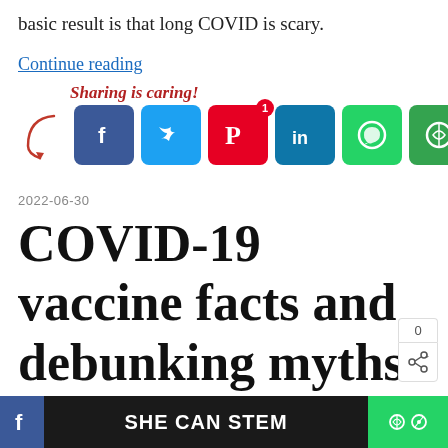basic result is that long COVID is scary.
Continue reading
[Figure (infographic): Sharing is caring! social share buttons: Facebook, Twitter, Pinterest (badge: 1), LinkedIn, WhatsApp, More]
2022-06-30
COVID-19 vaccine facts and debunking myths — the semi-
SHE CAN STEM